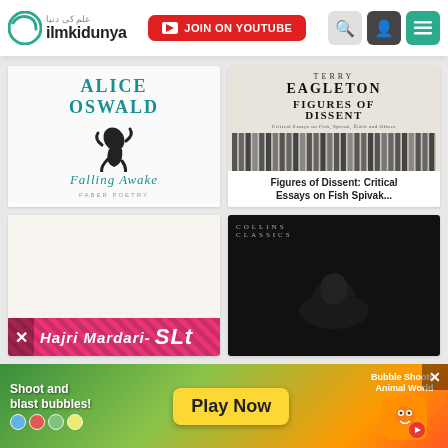ilmkidunya — JOIN ON YOUTUBE
[Figure (screenshot): Book cover: Alice Oswald - Falling Awake, white background with teal author name and falling figure illustration]
Falling Awake
[Figure (screenshot): Book cover: Terry Eagleton - Figures of Dissent: Critical Essays on Fish Spivak..., with vertical bars image]
Figures of Dissent: Critical Essays on Fish Spivak...
[Figure (screenshot): Book cover with popup overlay showing Hajri Mardari text and pink/red ad strip]
[Figure (screenshot): Collins Classics book cover with dark background and animal photo]
[Figure (screenshot): Advertisement banner: Shoot and blast bubbles! Play Now - Bubble Shooter Animal World]